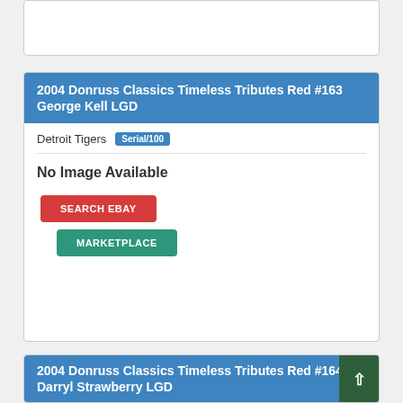[Figure (other): Partial white card at top of page, clipped]
2004 Donruss Classics Timeless Tributes Red #163 George Kell LGD
Detroit Tigers  Serial/100
No Image Available
SEARCH EBAY
MARKETPLACE
2004 Donruss Classics Timeless Tributes Red #164 Darryl Strawberry LGD
New York Mets  Serial/100